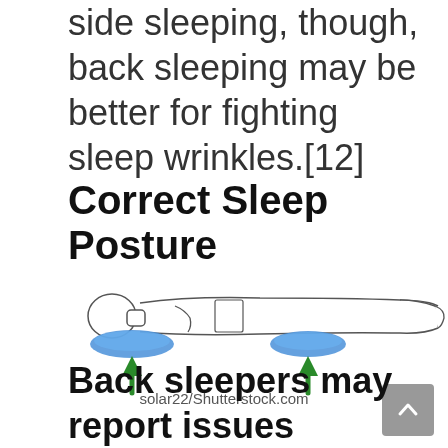side sleeping, though, back sleeping may be better for fighting sleep wrinkles.[12]
Correct Sleep Posture
[Figure (illustration): Illustration of a person lying on their back with two blue support pillows — one under the neck/head and one under the knees — with green upward arrows pointing to each pillow, indicating correct sleep posture.]
solar22/Shutterstock.com
Back sleepers may report issues